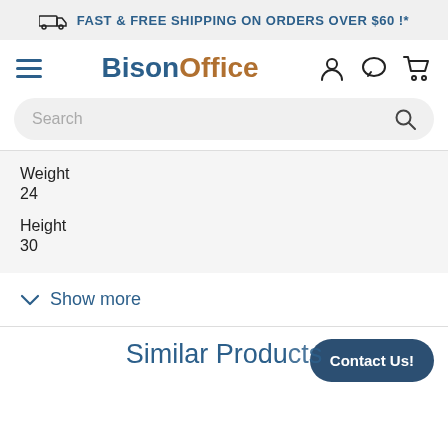FAST & FREE SHIPPING ON ORDERS OVER $60 !*
[Figure (logo): BisonOffice website logo with hamburger menu, user icon, chat icon, and cart icon]
Search
| Weight | Height |
| --- | --- |
| 24 | 30 |
Show more
Contact Us!
Similar Products